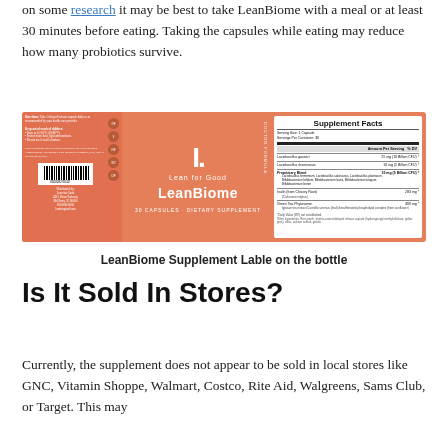on some research it may be best to take LeanBiome with a meal or at least 30 minutes before eating. Taking the capsules while eating may reduce how many probiotics survive.
[Figure (photo): LeanBiome supplement bottle label showing an orange/salmon colored label with Supplement Facts panel on the right, the LeanBiome logo in the center, and directions/barcode on the left.]
LeanBiome Supplement Lable on the bottle
Is It Sold In Stores?
Currently, the supplement does not appear to be sold in local stores like GNC, Vitamin Shoppe, Walmart, Costco, Rite Aid, Walgreens, Sams Club, or Target. This may